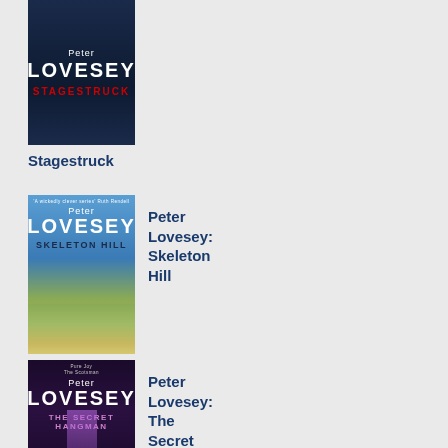[Figure (illustration): Book cover of Stagestruck by Peter Lovesey — dark navy background with large white LOVESEY text and red STAGESTRUCK title]
Stagestruck
[Figure (illustration): Book cover of Skeleton Hill by Peter Lovesey — blue sky fading to landscape with bare tree, white LOVESEY text and dark SKELETON HILL subtitle]
Peter Lovesey: Skeleton Hill
[Figure (illustration): Book cover of The Secret Hangman by Peter Lovesey — dark purple background with light beam, white LOVESEY text and pink THE SECRET HANGMAN subtitle]
Peter Lovesey: The Secret